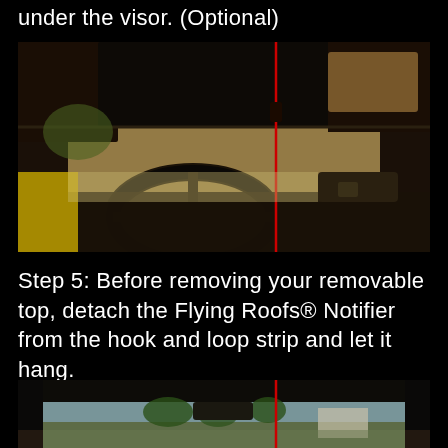under the visor. (Optional)
[Figure (photo): Interior view of a car from driver's perspective showing the visor area, steering wheel, and windshield with a red vertical line visible]
Step 5: Before removing your removable top, detach the Flying Roofs® Notifier from the hook and loop strip and let it hang.
[Figure (photo): Interior view of car from rear looking forward through the windshield showing visor area with a red vertical line and outdoor scenery with palm trees visible through the windshield]